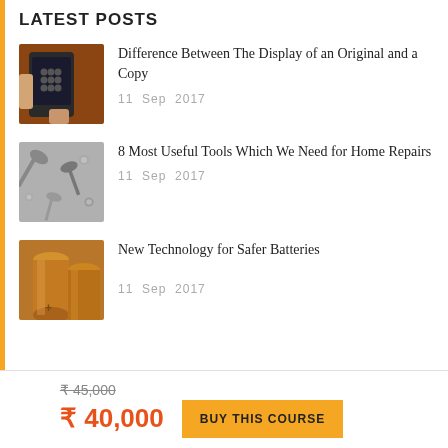LATEST POSTS
[Figure (photo): Hand holding a smartphone showing a lock screen with keypad]
Difference Between The Display of an Original and a Copy
11  Sep  2017
[Figure (photo): Various wrenches and tools spread on a wooden surface]
8 Most Useful Tools Which We Need for Home Repairs
11  Sep  2017
[Figure (photo): Copper cylindrical batteries close-up]
New Technology for Safer Batteries
11  Sep  2017
₹ 45,000
₹ 40,000
BUY THIS COURSE